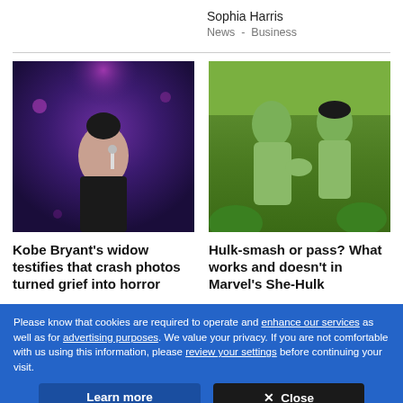Sophia Harris
News  -  Business
[Figure (photo): Woman at a microphone with purple stage lighting in the background]
[Figure (photo): Two Hulk-like green characters facing each other outdoors in a Marvel scene]
Kobe Bryant's widow testifies that crash photos turned grief into horror
Hulk-smash or pass? What works and doesn't in Marvel's She-Hulk
Please know that cookies are required to operate and enhance our services as well as for advertising purposes. We value your privacy. If you are not comfortable with us using this information, please review your settings before continuing your visit.